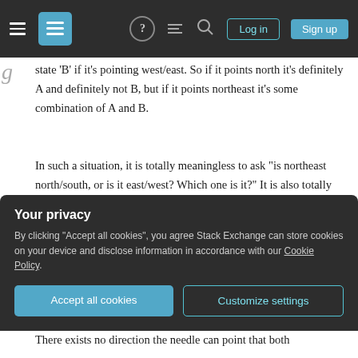Stack Exchange navigation bar with hamburger menu, logo, help, chat, search icons, Log in and Sign up buttons
state 'B' if it's pointing west/east. So if it points north it's definitely A and definitely not B, but if it points northeast it's some combination of A and B.
In such a situation, it is totally meaningless to ask "is northeast north/south, or is it east/west? Which one is it?" It is also totally meaningless to ask "would the situation improve if we kept looking at the needle? If we looked at the needle upside-down? If we only half looked at it?" It has nothing to do with looking at the needle, or how or when you look at it. It's just true; northeast is neither
Your privacy
By clicking "Accept all cookies", you agree Stack Exchange can store cookies on your device and disclose information in accordance with our Cookie Policy.
Accept all cookies
Customize settings
There exists no direction the needle can point that both